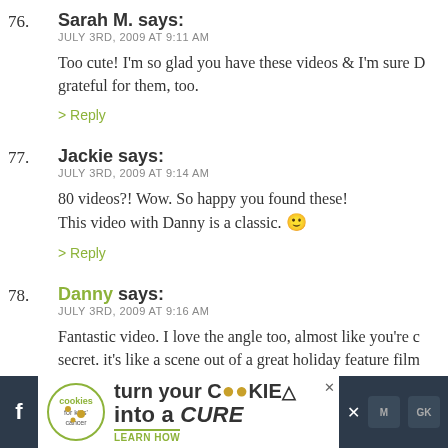76. Sarah M. says: JULY 3RD, 2009 AT 9:11 AM — Too cute! I'm so glad you have these videos & I'm sure D grateful for them, too. > Reply
77. Jackie says: JULY 3RD, 2009 AT 9:14 AM — 80 videos?! Wow. So happy you found these! This video with Danny is a classic. 🙂 > Reply
78. Danny says: JULY 3RD, 2009 AT 9:16 AM — Fantastic video. I love the angle too, almost like you're c secret. it's like a scene out of a great holiday feature film .-= Danny's last blog ..Charlie & The Chairman of the Bo
[Figure (infographic): Advertisement banner: Cookies for Kids Cancer — turn your COOKIES into a CURE LEARN HOW]